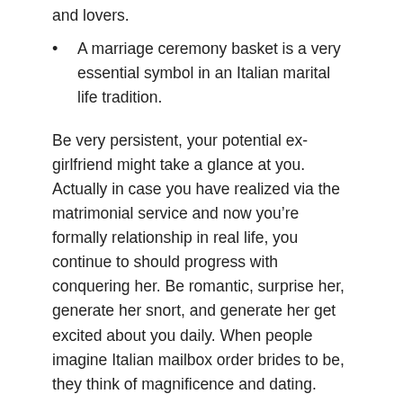and lovers.
A marriage ceremony basket is a very essential symbol in an Italian marital life tradition.
Be very persistent, your potential ex-girlfriend might take a glance at you. Actually in case you have realized via the matrimonial service and now you’re formally relationship in real life, you continue to should progress with conquering her. Be romantic, surprise her, generate her snort, and generate her get excited about you daily. When people imagine Italian mailbox order brides to be, they think of magnificence and dating.
THE METHODS TO USE ON-LINE RELATIONSHIP TO LOCATE ITALIAN BRIDES